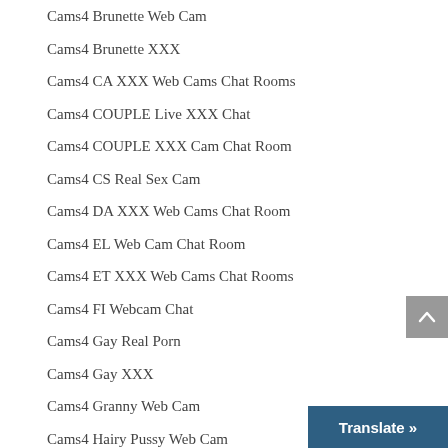Cams4 Brunette Web Cam
Cams4 Brunette XXX
Cams4 CA XXX Web Cams Chat Rooms
Cams4 COUPLE Live XXX Chat
Cams4 COUPLE XXX Cam Chat Room
Cams4 CS Real Sex Cam
Cams4 DA XXX Web Cams Chat Room
Cams4 EL Web Cam Chat Room
Cams4 ET XXX Web Cams Chat Rooms
Cams4 FI Webcam Chat
Cams4 Gay Real Porn
Cams4 Gay XXX
Cams4 Granny Web Cam
Cams4 Hairy Pussy Web Cam